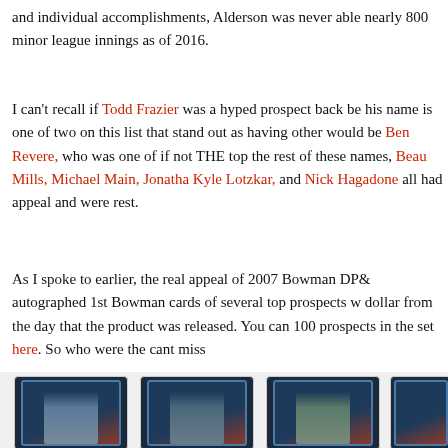and individual accomplishments, Alderson was never able nearly 800 minor league innings as of 2016.
I can't recall if Todd Frazier was a hyped prospect back be his name is one of two on this list that stand out as having other would be Ben Revere, who was one of if not THE top the rest of these names, Beau Mills, Michael Main, Jonatha Kyle Lotzkar, and Nick Hagadone all had appeal and were rest.
As I spoke to earlier, the real appeal of 2007 Bowman DP& autographed 1st Bowman cards of several top prospects w dollar from the day that the product was released. You can 100 prospects in the set here. So who were the cant miss
[Figure (photo): Three baseball trading cards shown side by side (partially cut off on the right), featuring players in dark team uniforms against colored backgrounds, Bowman DP&P style cards.]